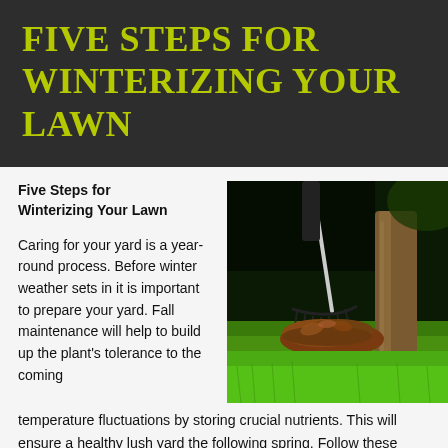FIVE STEPS FOR WINTERIZING YOUR LAWN
Five Steps for Winterizing Your Lawn
[Figure (photo): Person raking autumn leaves into a pile near the base of a tree trunk on a bright green lawn]
Caring for your yard is a year-round process. Before winter weather sets in it is important to prepare your yard. Fall maintenance will help to build up the plant's tolerance to the coming temperature fluctuations by storing crucial nutrients. This will ensure a healthy lush yard the following spring. Follow these easy steps as you winterize your lawn and you'll reap the benefits of a healthier lawn in the spring.